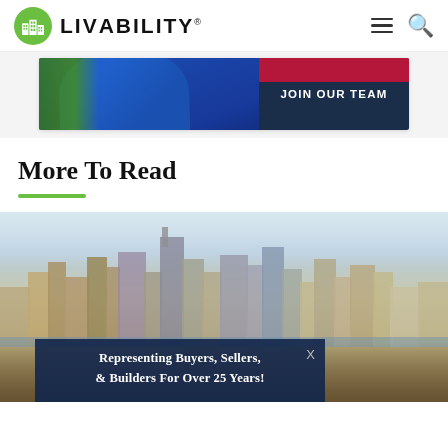LIVABILITY
[Figure (photo): Advertisement banner with 'JOIN OUR TEAM' text over dark navy background with red accent bar, featuring a person in blue jersey on the left side]
More To Read
[Figure (photo): Aerial/skyline view of a city (Nashville) at golden hour, showing downtown skyscrapers and buildings. Overlay card at bottom reads 'Representing Buyers, Sellers, & Builders For Over 25 Years!']